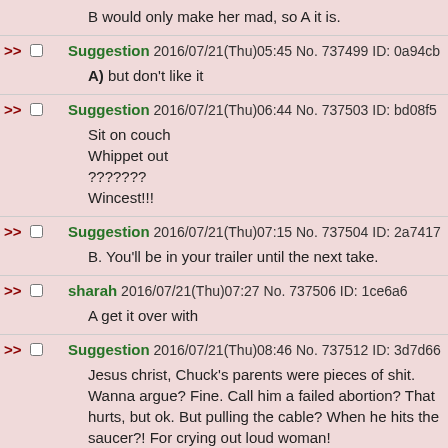B would only make her mad, so A it is.
Suggestion 2016/07/21(Thu)05:45 No. 737499 ID: 0a94cb
A) but don't like it
Suggestion 2016/07/21(Thu)06:44 No. 737503 ID: bd08f5
Sit on couch
Whippet out
???????
Wincest!!!
Suggestion 2016/07/21(Thu)07:15 No. 737504 ID: 2a7417
B. You'll be in your trailer until the next take.
sharah 2016/07/21(Thu)07:27 No. 737506 ID: 1ce6a6
A get it over with
Suggestion 2016/07/21(Thu)08:46 No. 737512 ID: 3d7d66
Jesus christ, Chuck's parents were pieces of shit. Wanna argue? Fine. Call him a failed abortion? That hurts, but ok. But pulling the cable? When he hits the saucer?! For crying out loud woman!
Suggestion 2016/07/21(Thu)16:42 No. 737580 ID: 65317a